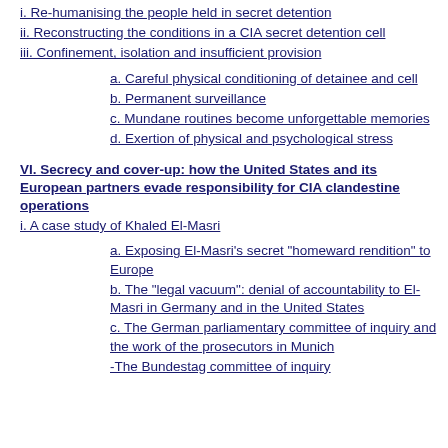i. Re-humanising the people held in secret detention
ii. Reconstructing the conditions in a CIA secret detention cell
iii. Confinement, isolation and insufficient provision
a. Careful physical conditioning of detainee and cell
b. Permanent surveillance
c. Mundane routines become unforgettable memories
d. Exertion of physical and psychological stress
VI. Secrecy and cover-up: how the United States and its European partners evade responsibility for CIA clandestine operations
i. A case study of Khaled El-Masri
a. Exposing El-Masri's secret "homeward rendition" to Europe
b. The "legal vacuum": denial of accountability to El-Masri in Germany and in the United States
c. The German parliamentary committee of inquiry and the work of the prosecutors in Munich
-The Bundestag committee of inquiry